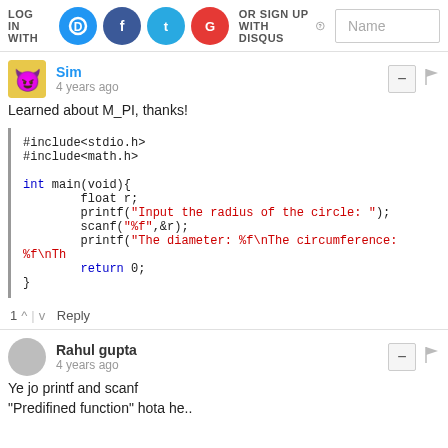LOG IN WITH | OR SIGN UP WITH DISQUS
[Figure (screenshot): Social login icons: Disqus (D), Facebook, Twitter, Google]
Name
Sim
4 years ago
Learned about M_PI, thanks!
1 ^ | v Reply
Rahul gupta
4 years ago
Ye jo printf and scanf
"Predifined function" hota he..